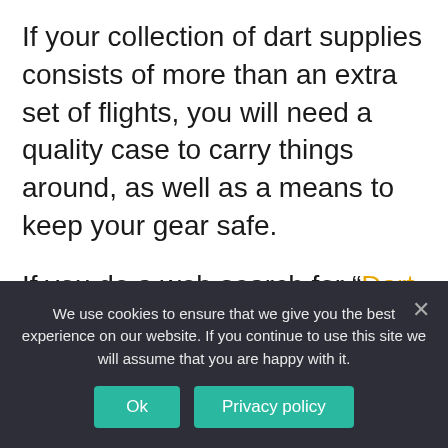If your collection of dart supplies consists of more than an extra set of flights, you will need a quality case to carry things around, as well as a means to keep your gear safe.
If you do a web search for "Dart case" you will promptly receive dozens of pages of results. These results will contain prices that range from inexpensive to outrageous.
If you are looking to carry darts for more than one person or just want to have everything you would
We use cookies to ensure that we give you the best experience on our website. If you continue to use this site we will assume that you are happy with it.